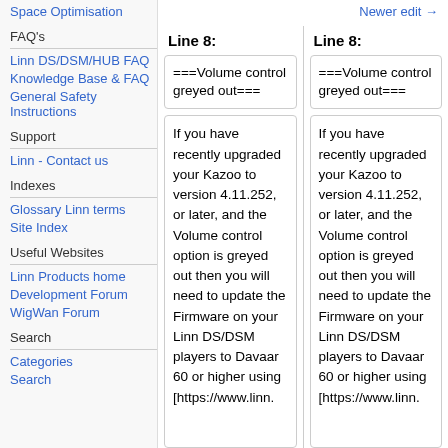Space Optimisation
FAQ's
Linn DS/DSM/HUB FAQ
Knowledge Base & FAQ
General Safety Instructions
Support
Linn - Contact us
Indexes
Glossary Linn terms
Site Index
Useful Websites
Linn Products home
Development Forum
WigWan Forum
Search
Categories
Search
Newer edit →
Line 8:
Line 8:
===Volume control greyed out===
===Volume control greyed out===
If you have recently upgraded your Kazoo to version 4.11.252, or later, and the Volume control option is greyed out then you will need to update the Firmware on your Linn DS/DSM players to Davaar 60 or higher using [https://www.linn.
If you have recently upgraded your Kazoo to version 4.11.252, or later, and the Volume control option is greyed out then you will need to update the Firmware on your Linn DS/DSM players to Davaar 60 or higher using [https://www.linn.